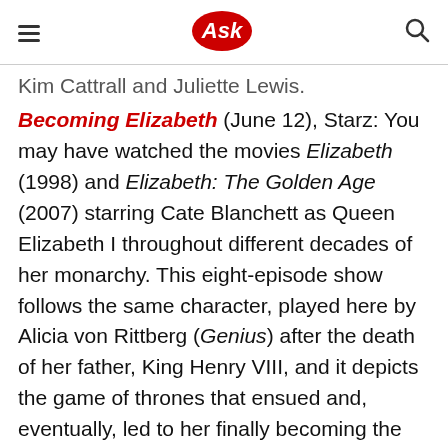Ask
Kim Cattrall and Juliette Lewis.
Becoming Elizabeth (June 12), Starz: You may have watched the movies Elizabeth (1998) and Elizabeth: The Golden Age (2007) starring Cate Blanchett as Queen Elizabeth I throughout different decades of her monarchy. This eight-episode show follows the same character, played here by Alicia von Rittberg (Genius) after the death of her father, King Henry VIII, and it depicts the game of thrones that ensued and, eventually, led to her finally becoming the queen. Jessica Raine, Romola Garai and Tom Cullen also star.